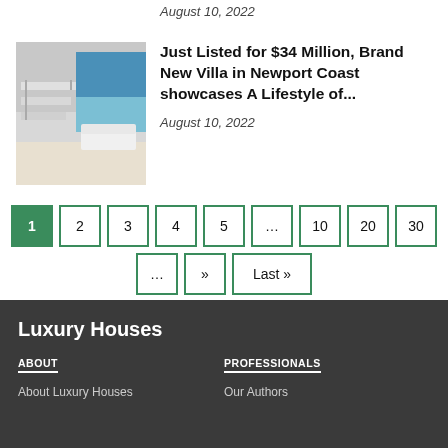August 10, 2022
[Figure (photo): Interior of a luxury villa with white staircase and ocean view]
Just Listed for $34 Million, Brand New Villa in Newport Coast showcases A Lifestyle of...
August 10, 2022
Pagination: 1 2 3 4 5 ... 10 20 30 ... » Last »
Luxury Houses
ABOUT
About Luxury Houses
PROFESSIONALS
Our Authors